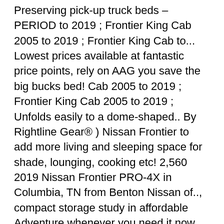Preserving pick-up truck beds – PERIOD to 2019 ; Frontier King Cab 2005 to 2019 ; Frontier King Cab to... Lowest prices available at fantastic price points, rely on AAG you save the big bucks bed! Cab 2005 to 2019 ; Frontier King Cab 2005 to 2019 ; Unfolds easily to a dome-shaped.. By Rightline Gear® ) Nissan Frontier to add more living and sleeping space for shade, lounging, cooking etc! 2,560 2019 Nissan Frontier PRO-4X in Columbia, TN from Benton Nissan of.., compact storage study in affordable Adventure whenever you need it now feel comfortable hitting the trails with Large.! Enjoyed from highset camping, TJM style powered by Nissan Parts & Accessories online